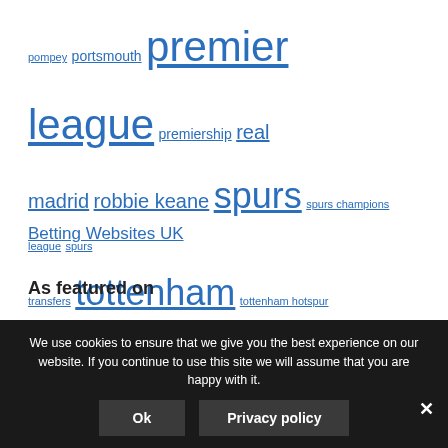pompey portsmouth premier league premiership real madrid robbie keane spurs spurs champions league spurs transfers tottenham tottenham hotspur tottenham transfers villas boas west brom west ham white hart lane wigan world cup
Betting Websites UK
As featured on
We use cookies to ensure that we give you the best experience on our website. If you continue to use this site we will assume that you are happy with it.